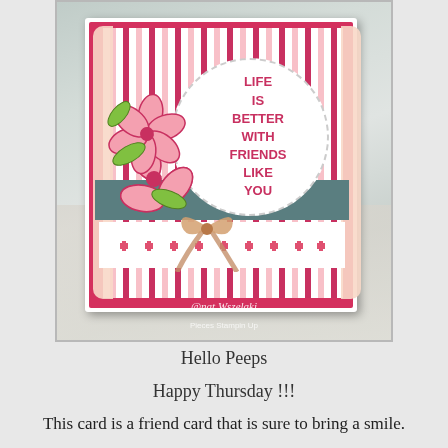[Figure (photo): A handmade greeting card featuring pink hibiscus flowers on a striped pink and white background, with a circular sentiment that reads 'LIFE IS BETTER WITH FRIENDS LIKE YOU', teal ribbon band, small cross pattern strip, scalloped edges, and a ribbon bow. Photo background is blurred gray/white. Watermark reads '@nat Wszelaki Pieces Stampin Up']
Hello Peeps
Happy Thursday !!!
This card is a friend card that is sure to bring a smile.